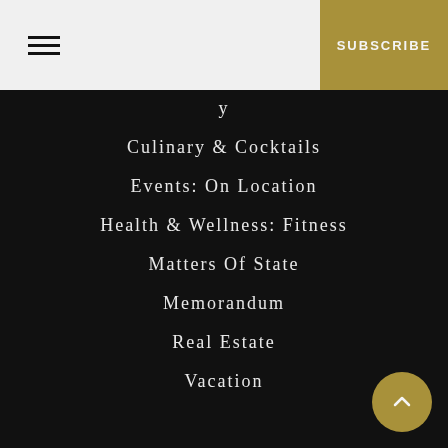SUBSCRIBE
Culinary & Cocktails
Events: On Location
Health & Wellness: Fitness
Matters Of State
Memorandum
Real Estate
Vacation
PRODUCTS
Yachts
ETIQUETTE